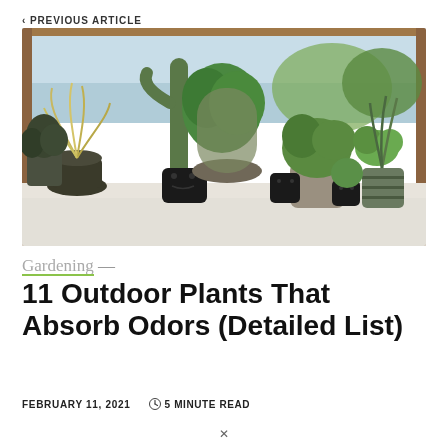< PREVIOUS ARTICLE
[Figure (photo): Multiple potted plants including succulents, ornamental grasses, and leafy plants in decorative black face pots and stone pots arranged on a white surface near a window]
Gardening — 11 Outdoor Plants That Absorb Odors (Detailed List)
FEBRUARY 11, 2021   🕐 5 MINUTE READ